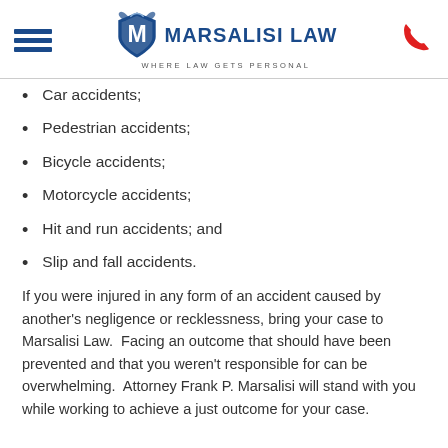Marsalisi Law — Where Law Gets Personal
Car accidents;
Pedestrian accidents;
Bicycle accidents;
Motorcycle accidents;
Hit and run accidents; and
Slip and fall accidents.
If you were injured in any form of an accident caused by another's negligence or recklessness, bring your case to Marsalisi Law.  Facing an outcome that should have been prevented and that you weren't responsible for can be overwhelming.  Attorney Frank P. Marsalisi will stand with you while working to achieve a just outcome for your case.